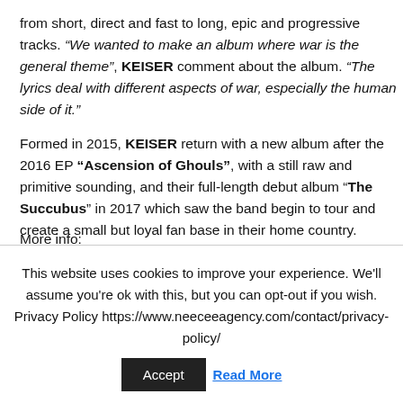from short, direct and fast to long, epic and progressive tracks. “We wanted to make an album where war is the general theme”, KEISER comment about the album. “The lyrics deal with different aspects of war, especially the human side of it.”
Formed in 2015, KEISER return with a new album after the 2016 EP “Ascension of Ghouls”, with a still raw and primitive sounding, and their full-length debut album “The Succubus” in 2017 which saw the band begin to tour and create a small but loyal fan base in their home country.
More info:
This website uses cookies to improve your experience. We'll assume you're ok with this, but you can opt-out if you wish. Privacy Policy https://www.neeceeagency.com/contact/privacy-policy/